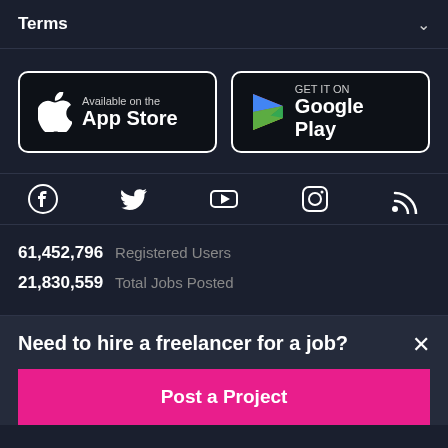Terms
[Figure (logo): App Store download button with Apple logo]
[Figure (logo): Google Play download button with Play Store logo]
[Figure (infographic): Social media icons: Facebook, Twitter, YouTube, Instagram, RSS]
61,452,796  Registered Users
21,830,559  Total Jobs Posted
Need to hire a freelancer for a job?
Post a Project